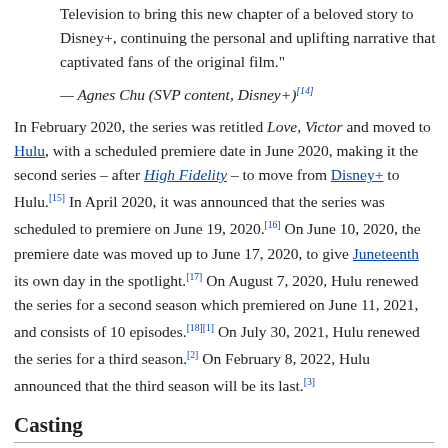Television to bring this new chapter of a beloved story to Disney+, continuing the personal and uplifting narrative that captivated fans of the original film."
— Agnes Chu (SVP content, Disney+)[14]
In February 2020, the series was retitled Love, Victor and moved to Hulu, with a scheduled premiere date in June 2020, making it the second series – after High Fidelity – to move from Disney+ to Hulu.[15] In April 2020, it was announced that the series was scheduled to premiere on June 19, 2020.[16] On June 10, 2020, the premiere date was moved up to June 17, 2020, to give Juneteenth its own day in the spotlight.[17] On August 7, 2020, Hulu renewed the series for a second season which premiered on June 11, 2021, and consists of 10 episodes.[18][1] On July 30, 2021, Hulu renewed the series for a third season.[2] On February 8, 2022, Hulu announced that the third season will be its last.[3]
Casting
In June 2019, Ana Ortiz was cast as Isabel.[8] In mid-August, the series' full cast was announced, with Michael Cimino as the lead, Victor. Also announced were James Martinez as Armando, Isabella